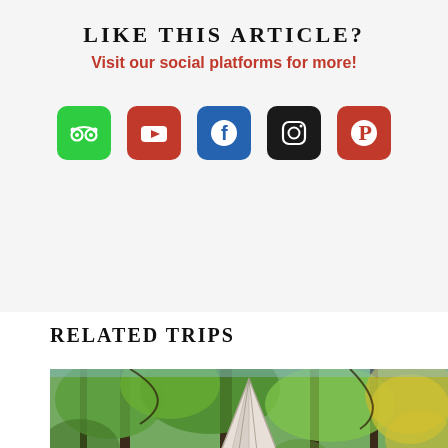LIKE THIS ARTICLE?
Visit our social platforms for more!
[Figure (infographic): Row of 5 social media icon buttons: TripAdvisor (green), YouTube (red), Facebook (blue), Instagram (black), Pinterest (red)]
RELATED TRIPS
[Figure (photo): Forest scene with tall pine/larch trees and a white teepee or tipi tent in the middle ground, lush green and yellow foliage]